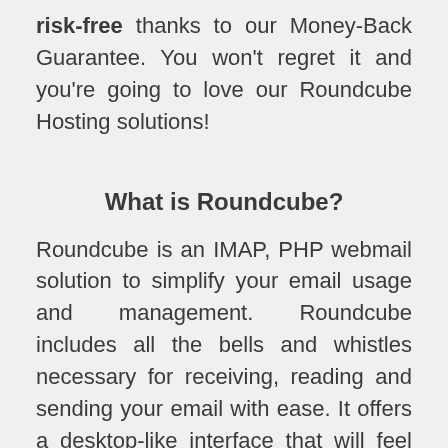risk-free thanks to our Money-Back Guarantee. You won't regret it and you're going to love our Roundcube Hosting solutions!
What is Roundcube?
Roundcube is an IMAP, PHP webmail solution to simplify your email usage and management. Roundcube includes all the bells and whistles necessary for receiving, reading and sending your email with ease. It offers a desktop-like interface that will feel familiar to you. Roundcube also comes with handy tools like an integrated address book...